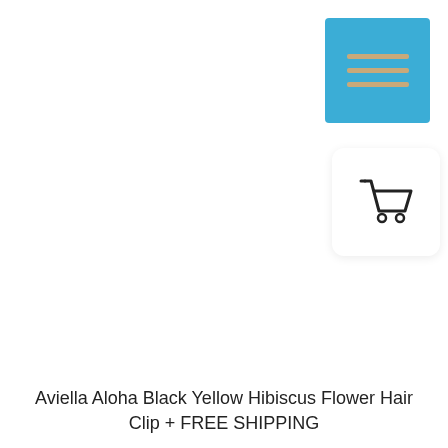[Figure (illustration): Blue square button with three horizontal tan/gold lines representing a hamburger menu icon, positioned in the top-right corner]
[Figure (illustration): White rounded square card with a shopping cart icon (outline style) centered inside, positioned to the right side below the menu button]
Aviella Aloha Black Yellow Hibiscus Flower Hair Clip + FREE SHIPPING